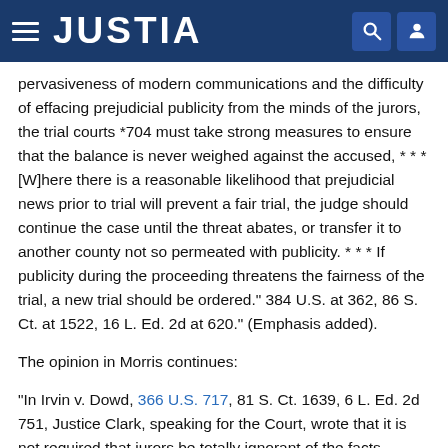JUSTIA
pervasiveness of modern communications and the difficulty of effacing prejudicial publicity from the minds of the jurors, the trial courts *704 must take strong measures to ensure that the balance is never weighed against the accused, * * * [W]here there is a reasonable likelihood that prejudicial news prior to trial will prevent a fair trial, the judge should continue the case until the threat abates, or transfer it to another county not so permeated with publicity. * * * If publicity during the proceeding threatens the fairness of the trial, a new trial should be ordered." 384 U.S. at 362, 86 S. Ct. at 1522, 16 L. Ed. 2d at 620." (Emphasis added).
The opinion in Morris continues:
"In Irvin v. Dowd, 366 U.S. 717, 81 S. Ct. 1639, 6 L. Ed. 2d 751, Justice Clark, speaking for the Court, wrote that it is not required that jurors be totally ignorant of the facts